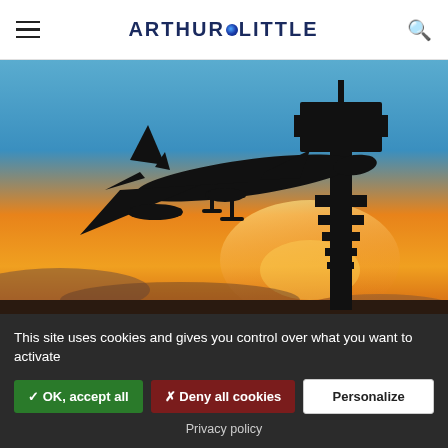Arthur D Little — navigation header with hamburger menu, logo, and search icon
[Figure (photo): Silhouette of a commercial airplane descending and an air traffic control tower against a vivid orange and blue sunset sky]
11 MIN READ • VIEWPOINT
This site uses cookies and gives you control over what you want to activate
✓ OK, accept all  ✗ Deny all cookies  Personalize
Privacy policy